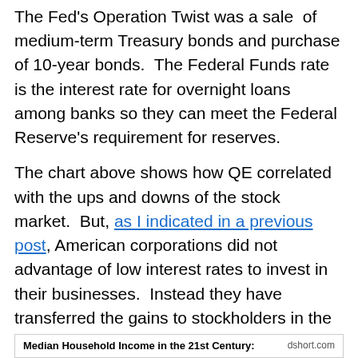The Fed's Operation Twist was a sale of medium-term Treasury bonds and purchase of 10-year bonds. The Federal Funds rate is the interest rate for overnight loans among banks so they can meet the Federal Reserve's requirement for reserves.
The chart above shows how QE correlated with the ups and downs of the stock market. But, as I indicated in a previous post, American corporations did not advantage of low interest rates to invest in their businesses. Instead they have transferred the gains to stockholders in the form of stock buybacks.
An economic recovery has taken place. Most Americans are better off than they were at the depths of the crash. But as economic recoveries go, this one has been weak.
[Figure (other): Bottom banner showing chart label: 'Median Household Income in the 21st Century:' with source 'dshort.com']